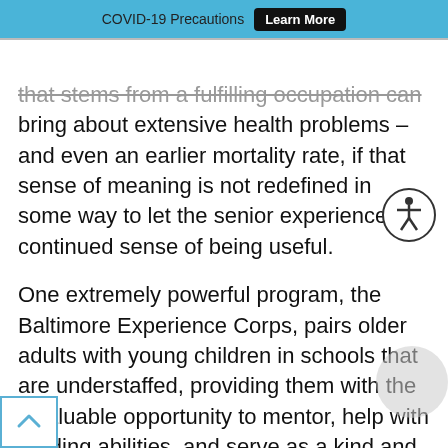COVID-19 Precautions  Learn More
that stems from a fulfilling occupation can bring about extensive health problems – and even an earlier mortality rate, if that sense of meaning is not redefined in some way to let the senior experience a continued sense of being useful.
One extremely powerful program, the Baltimore Experience Corps, pairs older adults with young children in schools that are understaffed, providing them with the invaluable opportunity to mentor, help with reading abilities, and serve as a kind and nonjudgmental friend to the children. And they are certainly helping themselves in the process too. As Michelle Carlson, Ph.D., of the Department of Mental Health at